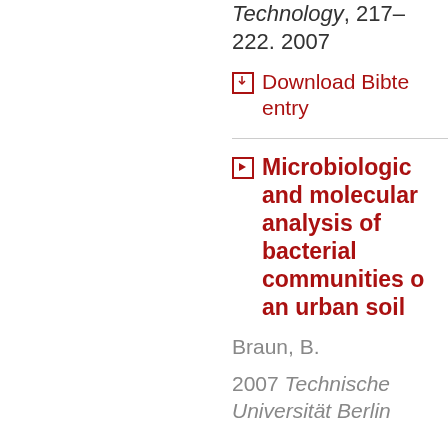Technology, 217–222. 2007
Download Bibtex entry
Microbiological and molecular analysis of bacterial communities of an urban soil
Braun, B.
2007 Technische Universität Berlin